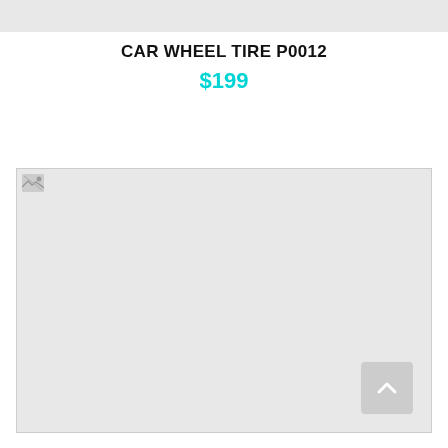CAR WHEEL TIRE P0012
$199
[Figure (photo): Broken/missing product image placeholder for car wheel tire P0012. Gray rectangle with broken image icon in top-left corner and a scroll-to-top button in the bottom-right.]